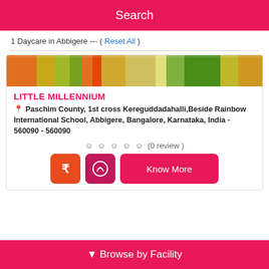Search
1 Daycare in Abbigere --- ( Reset All )
[Figure (illustration): Colorful banner image for Little Millennium daycare listing]
LITTLE MILLENNIUM
Paschim County, 1st cross Kereguddadahalli,Beside Rainbow International School, Abbigere, Bangalore, Karnataka, India - 560090 - 560090
☺ ☺ ☺ ☺ ☺ (0 review )
₹  WhatsApp  Know More
Browse by Facility